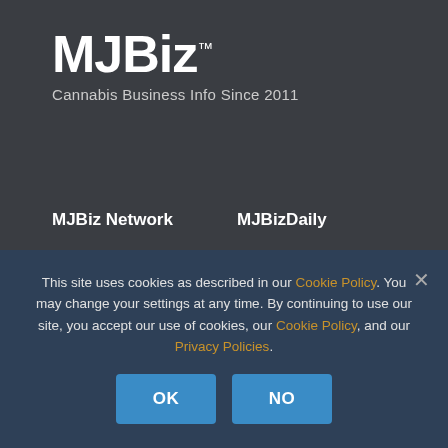MJBiz™
Cannabis Business Info Since 2011
MJBiz Network
MJBizDaily
MJBizDaily
Magazine
MJBizScience
Newsletters
HempIndustryDaily
Reports
MJBizCon
Podcasts
This site uses cookies as described in our Cookie Policy. You may change your settings at any time. By continuing to use our site, you accept our use of cookies, our Cookie Policy, and our Privacy Policies.